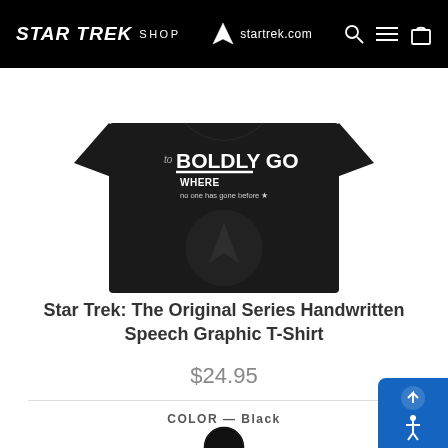STAR TREK SHOP  startrek.com
[Figure (photo): Black t-shirt with 'to BOLDLY GO WHERE no one has gone before' handwritten speech graphic printed in white on the front, displayed against a white background.]
Star Trek: The Original Series Handwritten Speech Graphic T-Shirt
$24.95
COLOR — Black